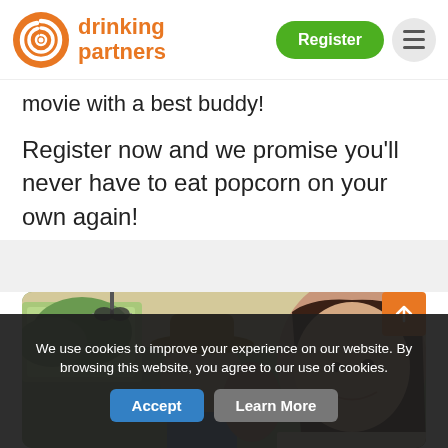[Figure (logo): Drinking Partners logo with orange spiral icon and orange text 'drinking partners']
movie with a best buddy!
Register now and we promise you'll never have to eat popcorn on your own again!
[Figure (photo): Three young people smiling inside a vehicle, road trip scene]
We use cookies to improve your experience on our website. By browsing this website, you agree to our use of cookies.